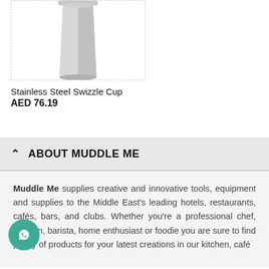[Figure (photo): Product photo of a stainless steel swizzle cup on white background with dashed border]
Stainless Steel Swizzle Cup
AED 76.19
ABOUT MUDDLE ME
Muddle Me supplies creative and innovative tools, equipment and supplies to the Middle East's leading hotels, restaurants, cafés, bars, and clubs. Whether you're a professional chef, barman, barista, home enthusiast or foodie you are sure to find plenty of products for your latest creations in our kitchen, café